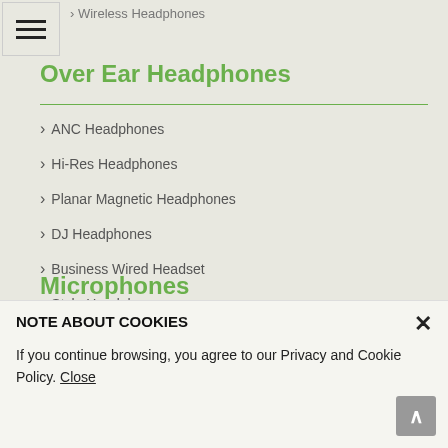› Wireless Headphones
Over Ear Headphones
ANC Headphones
Hi-Res Headphones
Planar Magnetic Headphones
DJ Headphones
Business Wired Headset
Style Headphones
Intercom-Systems Headsets
Drum Headphones
Microphones
NOTE ABOUT COOKIES
If you continue browsing, you agree to our Privacy and Cookie Policy. Close